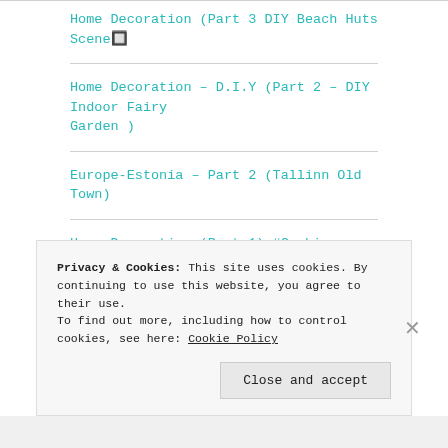Home Decoration (Part 3 DIY Beach Huts Scene🔲
Home Decoration – D.I.Y (Part 2 – DIY Indoor Fairy Garden )
Europe-Estonia – Part 2 (Tallinn Old Town)
Home Decoration (Part 1) #Cushion #Bench #Shoes #Cabinet + #DIY, #Minimalist for Own Work of Art Modern Cushion
Privacy & Cookies: This site uses cookies. By continuing to use this website, you agree to their use.
To find out more, including how to control cookies, see here: Cookie Policy